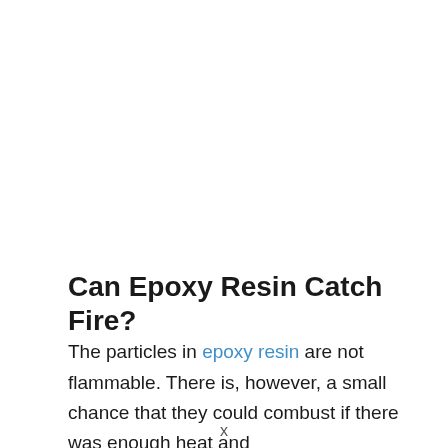Can Epoxy Resin Catch Fire?
The particles in epoxy resin are not flammable. There is, however, a small chance that they could combust if there was enough heat and